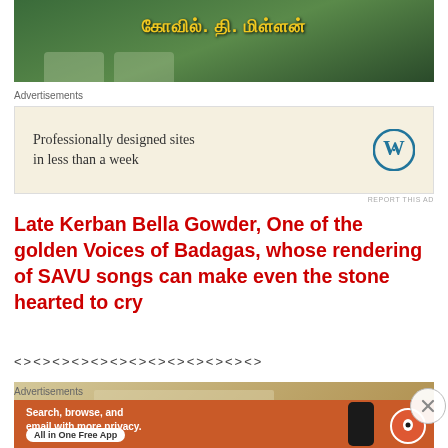[Figure (photo): Screenshot of a video thumbnail with Tamil text in yellow on green background]
Advertisements
[Figure (other): WordPress advertisement: Professionally designed sites in less than a week]
REPORT THIS AD
Late Kerban Bella Gowder, One of the golden Voices of Badagas, whose rendering of SAVU songs can make even the stone hearted to cry
<><><><><><><><><><><><><>
[Figure (photo): Partial view of an image, appears to be sandy/earthy tones]
Advertisements
[Figure (other): DuckDuckGo advertisement: Search, browse, and email with more privacy. All in One Free App]